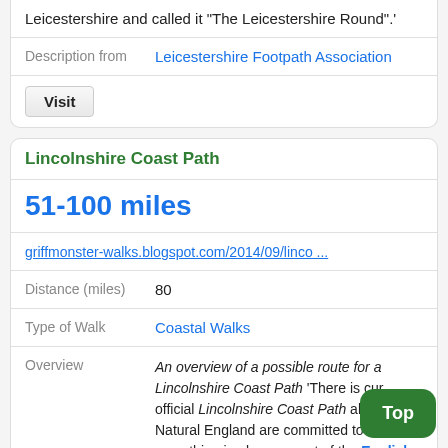|  | Leicestershire and called it "The Leicestershire Round".' |
| Description from | Leicestershire Footpath Association |
|  | Visit |
| Lincolnshire Coast Path |  |
| 51-100 miles |  |
| griffmonster-walks.blogspot.com/2014/09/linco ... |  |
| Distance (miles) | 80 |
| Type of Walk | Coastal Walks |
| Overview | An overview of a possible route for a Lincolnshire Coast Path  'There is cur... official Lincolnshire Coast Path althou... Natural England are committed to hav... something in place as part of the English |